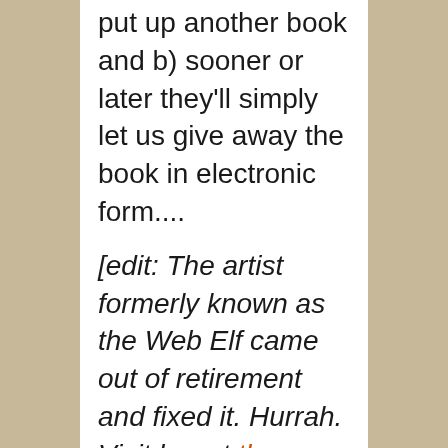put up another book and b) sooner or later they'll simply let us give away the book in electronic form....
[edit: The artist formerly known as the Web Elf came out of retirement and fixed it. Hurrah. Visit her at the Fabulist and give her toast.]